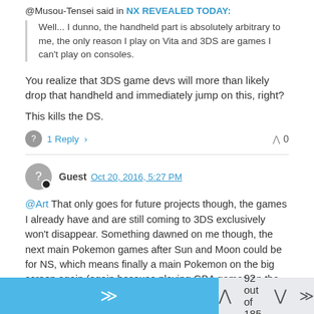@Musou-Tensei said in NX REVEALED TODAY:
Well... I dunno, the handheld part is absolutely arbitrary to me, the only reason I play on Vita and 3DS are games I can't play on consoles.
You realize that 3DS game devs will more than likely drop that handheld and immediately jump on this, right?
This kills the DS.
1 Reply >
Guest  Oct 20, 2016, 5:27 PM
@Art That only goes for future projects though, the games I already have and are still coming to 3DS exclusively won't disappear. Something dawned on me though, the next main Pokemon games after Sun and Moon could be for NS, which means finally a main Pokemon on the big screen again (again because playing GBA games on the GC's Game Boy Player). That would be pretty cool actually.
92 out of 185